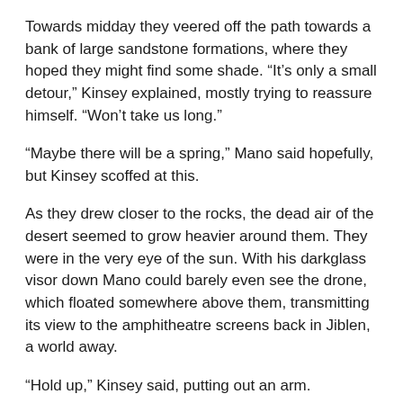Towards midday they veered off the path towards a bank of large sandstone formations, where they hoped they might find some shade. “It’s only a small detour,” Kinsey explained, mostly trying to reassure himself. “Won’t take us long.”
“Maybe there will be a spring,” Mano said hopefully, but Kinsey scoffed at this.
As they drew closer to the rocks, the dead air of the desert seemed to grow heavier around them. They were in the very eye of the sun. With his darkglass visor down Mano could barely even see the drone, which floated somewhere above them, transmitting its view to the amphitheatre screens back in Jiblen, a world away.
“Hold up,” Kinsey said, putting out an arm.
Mano had to cast around and push his visor up to see what Kinsey was looking at. On the sloping sandstone wall ahead of them, a splattered patch of liquid had dried darkly in the sun.
“Is it blood?” said Mano, his voice going quiet of its own accord.